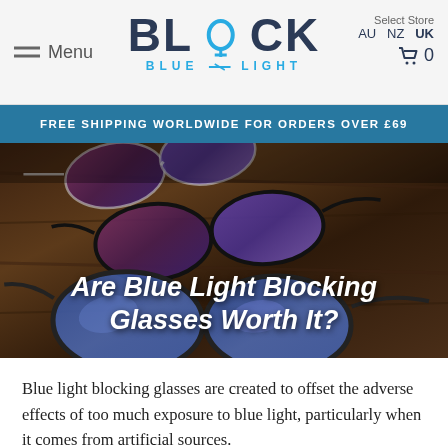Menu | BLOCK BLUE LIGHT | Select Store AU NZ UK | Cart 0
FREE SHIPPING WORLDWIDE FOR ORDERS OVER £69
[Figure (photo): Multiple pairs of blue light blocking glasses with reddish-purple tinted lenses laid on a dark wooden surface]
Are Blue Light Blocking Glasses Worth It?
Blue light blocking glasses are created to offset the adverse effects of too much exposure to blue light, particularly when it comes from artificial sources.